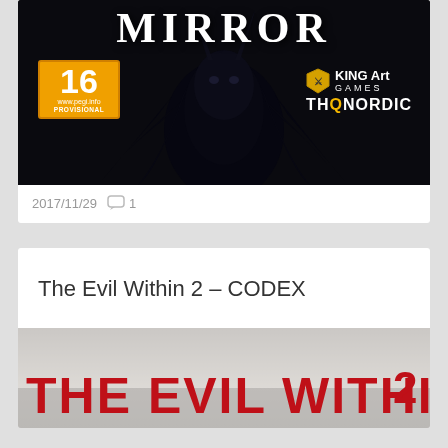[Figure (photo): Game cover art for MIRROR showing dark creature silhouette with PEGI 16 rating badge (provisional), King Art Games logo, and THQ Nordic logo on black background]
2017/11/29  💬 1
The Evil Within 2 – CODEX
[Figure (photo): Game cover art for The Evil Within 2 showing large red text THE EVIL WITHIN 2 on a light background]